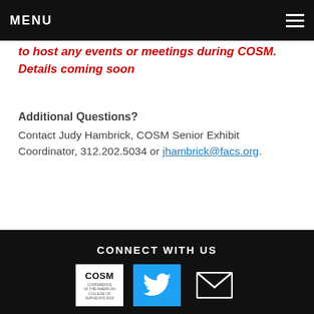MENU
to host any events or meetings during COSM. Details coming soon
Additional Questions?
Contact Judy Hambrick, COSM Senior Exhibit Coordinator, 312.202.5034 or jhambrick@facs.org.
CONNECT WITH US
[Figure (logo): COSM logo in white box, Twitter bird icon in blue box, envelope/mail icon]
COSM ADDRESS